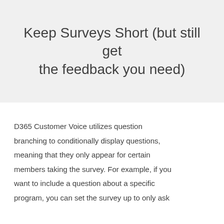Keep Surveys Short (but still get the feedback you need)
D365 Customer Voice utilizes question branching to conditionally display questions, meaning that they only appear for certain members taking the survey. For example, if you want to include a question about a specific program, you can set the survey up to only ask